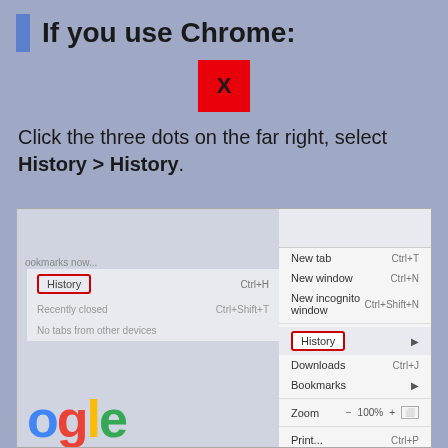If you use Chrome:
[Figure (other): Red square with black X letter in center]
Click the three dots on the far right, select History > History.
[Figure (screenshot): Chrome browser screenshot showing the three-dot menu open with History highlighted in a red box on both the left submenu and the right dropdown menu. An arrow points to the three-dot menu icon. The left panel shows the History submenu with Ctrl+H, Recently closed Ctrl+Shift+T, No tabs from other devices. The right dropdown shows New tab Ctrl+T, New window Ctrl+N, New incognito window Ctrl+Shift+N, History (highlighted), Downloads Ctrl+J, Bookmarks, Zoom - 100% +, Print... Ctrl+P, Cast..., Find... Ctrl+F, More tools. Google logo partially visible at bottom left.]